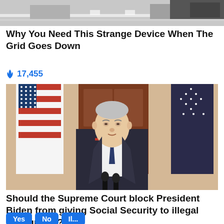[Figure (photo): Partial top image, cropped, showing a street/road scene.]
Why You Need This Strange Device When The Grid Goes Down
🔥 17,455
[Figure (photo): Photo of President Biden standing at a podium with American flags behind him, wearing a dark suit and patterned tie.]
Should the Supreme Court block President Biden from giving Social Security to illegal immigrants?
Yes  No  Il...